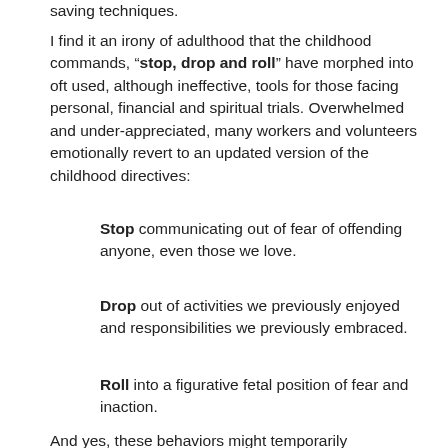saving techniques.
I find it an irony of adulthood that the childhood commands, “stop, drop and roll” have morphed into oft used, although ineffective, tools for those facing personal, financial and spiritual trials. Overwhelmed and under-appreciated, many workers and volunteers emotionally revert to an updated version of the childhood directives:
Stop communicating out of fear of offending anyone, even those we love.
Drop out of activities we previously enjoyed and responsibilities we previously embraced.
Roll into a figurative fetal position of fear and inaction.
And yes, these behaviors might temporarily